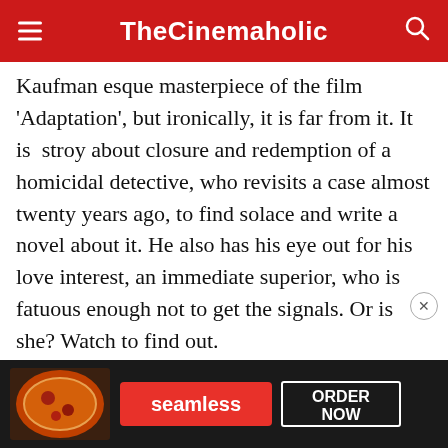TheCinemaholic
Kaufmanesque masterpiece of the film 'Adaptation', but ironically, it is far from it. It is stroy about closure and redemption of a homicidal detective, who revisits a case almost twenty years ago, to find solace and write a novel about it. He also has his eye out for his love interest, an immediate superior, who is fatuous enough not to get the signals. Or is she? Watch to find out.
4. The Treatment (2014)
[Figure (other): Seamless food delivery advertisement banner with pizza image, Seamless red logo button, and ORDER NOW button on dark background]